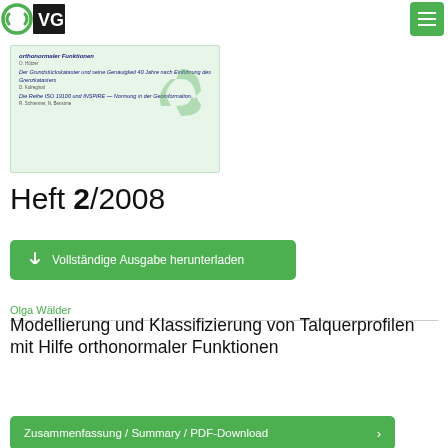DVG logo and navigation menu
[Figure (screenshot): Thumbnail/preview of a journal issue cover page showing article titles in German including 'Der Grundstückskataster und seine Genauigkeit 40 Jahre nach Einführung des Grenzkatasters', 'Die Reihe ISO 19100 und INSPIRE — Normung in der Geoinformation' with a recycling-arrows logo watermark]
Heft 2/2008
Vollständige Ausgabe herunterladen
Olga Wälder
Modellierung und Klassifizierung von Talquerprofilen mit Hilfe orthonormaler Funktionen
Zusammenfassung / Summary / PDF-Download